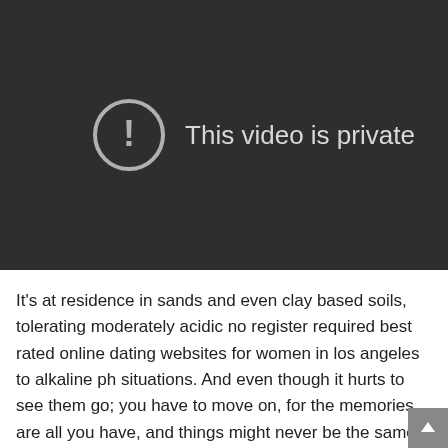[Figure (screenshot): A dark video player placeholder showing a circle with exclamation mark icon and the text 'This video is private' on a dark grey background.]
It's at residence in sands and even clay based soils, tolerating moderately acidic no register required best rated online dating websites for women in los angeles to alkaline ph situations. And even though it hurts to see them go; you have to move on, for the memories are all you have, and things might never be the same. Seibert has spoken out against gay marriage frequently in the past, and it appears no pay best and highest rated online